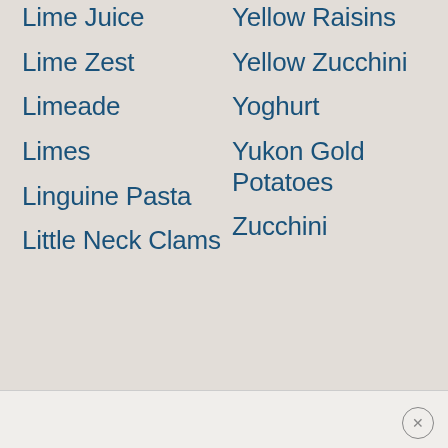Lime Juice
Lime Zest
Limeade
Limes
Linguine Pasta
Little Neck Clams
Yellow Raisins
Yellow Zucchini
Yoghurt
Yukon Gold Potatoes
Zucchini